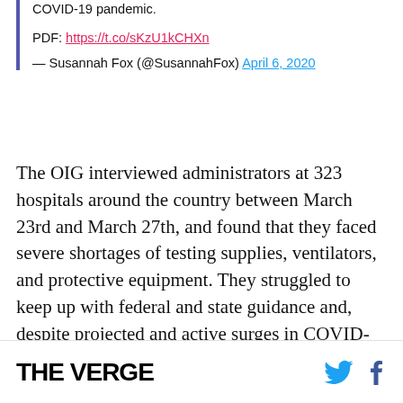COVID-19 pandemic.
PDF: https://t.co/sKzU1kCHXn
— Susannah Fox (@SusannahFox) April 6, 2020
The OIG interviewed administrators at 323 hospitals around the country between March 23rd and March 27th, and found that they faced severe shortages of testing supplies, ventilators, and protective equipment. They struggled to keep up with federal and state guidance and, despite projected and active surges in COVID-19 patients, have seen revenue decline.
THE VERGE